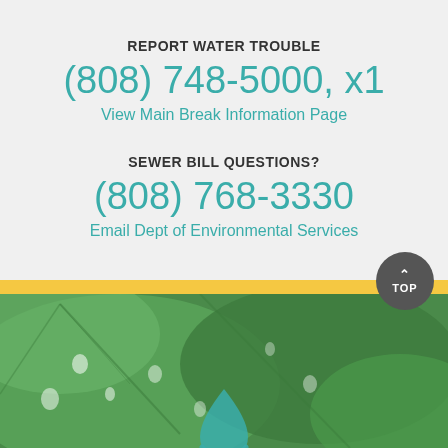REPORT WATER TROUBLE
(808) 748-5000, x1
View Main Break Information Page
SEWER BILL QUESTIONS?
(808) 768-3330
Email Dept of Environmental Services
[Figure (photo): Green tropical leaves with water droplets and a teal water drop logo overlay at the bottom center]